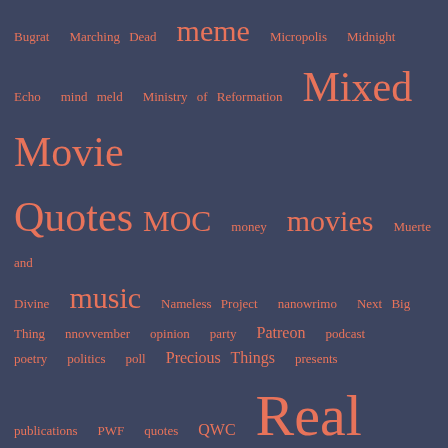[Figure (infographic): Tag cloud on dark blue-grey background with salmon/coral colored tags of varying sizes representing blog categories and topics including: Bugrat, Marching Dead, meme, Micropolis, Midnight Echo, mind meld, Ministry of Reformation, Mixed, Movie Quotes, MOC, money, movies, Muerte and Divine, music, Nameless Project, nanowrimo, Next Big Thing, nnovvember, opinion, party, Patreon, podcast, poetry, politics, poll, Precious Things, presents, publications, PWF, quotes, QWC, Real Life (TM), remix my lit, review140, reviews, richard ridyard, Rockingham, Room 102, science, script, sfwa, Shakespeare, sport, submissions, tattoo, Teaching, theatre, The Batthome, The Memory of Breathing, The Nest, Thumbnail Thursday, travel, treacherous carrots, TV, twitter, Uncategorized, valentine's day, webcomics, Website, weight, work, Work in Progress, workshops, Write Club, writers festival]